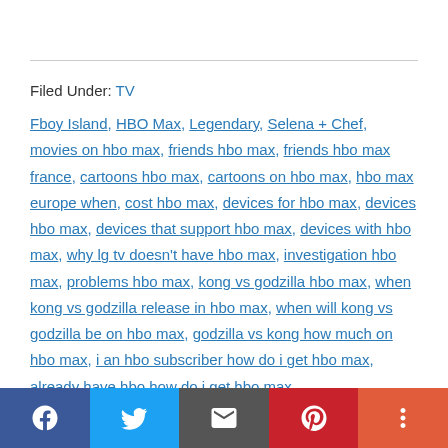Filed Under: TV
Fboy Island, HBO Max, Legendary, Selena + Chef, movies on hbo max, friends hbo max, friends hbo max france, cartoons hbo max, cartoons on hbo max, hbo max europe when, cost hbo max, devices for hbo max, devices hbo max, devices that support hbo max, devices with hbo max, why lg tv doesn't have hbo max, investigation hbo max, problems hbo max, kong vs godzilla hbo max, when kong vs godzilla release in hbo max, when will kong vs godzilla be on hbo max, godzilla vs kong how much on hbo max, i an hbo subscriber how do i get hbo max, already have hbo how do i get hbo max
Social share bar: Facebook, Twitter, Email, Pinterest, More